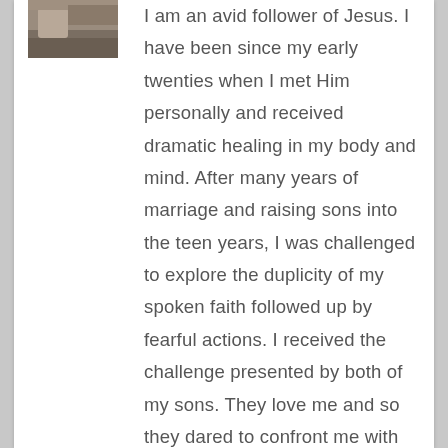[Figure (photo): Small thumbnail photo of a person outdoors, partially visible at top left of card.]
I am an avid follower of Jesus. I have been since my early twenties when I met Him personally and received dramatic healing in my body and mind. After many years of marriage and raising sons into the teen years, I was challenged to explore the duplicity of my spoken faith followed up by fearful actions. I received the challenge presented by both of my sons. They love me and so they dared to confront me with the truth. Chips off my proverbial block! I determined then {more than a decade ago} to overcome fear with faith that was more